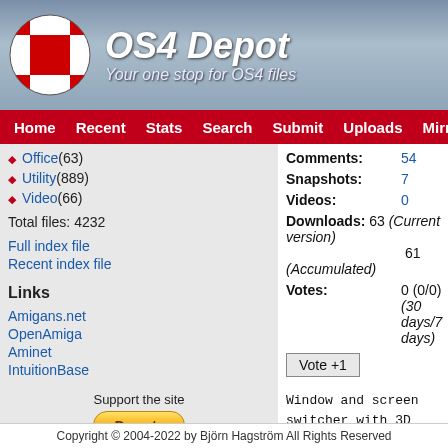OS4 Depot - Your one stop for OS4 files
Home  Recent  Stats  Search  Submit  Uploads  Mirrors  Co
Office (63)
Utility (889)
Video (66)
Total files: 4232
Full index file
Recent index file
Links
Amigans.net
OpenAmiga
Aminet
IntuitionBase
Support the site
Donate
Comments: 54
Snapshots: 7
Videos: 0
Downloads: 63 (Current version) 61 (Accumulated)
Votes: 0 (0/0) (30 days/7 days)
Vote +1
Window and screen switcher with 3D view.

NOTE to RadeonHD users: Use Wazp3D library set Compositing2D as the renderer in Wazp work as intended.

Version:
- 4.1 (6th April 2012)
  - New Arexx commands
Copyright © 2004-2022 by Björn Hagström All Rights Reserved